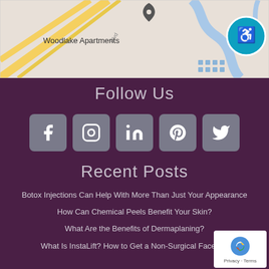[Figure (map): Google Maps screenshot showing Woodlake Apartments location with a wheelchair accessibility icon in the top right corner]
Follow Us
[Figure (infographic): Row of 5 social media icon buttons: Facebook, Instagram, LinkedIn, Pinterest, Twitter]
Recent Posts
Botox Injections Can Help With More Than Just Your Appearance
How Can Chemical Peels Benefit Your Skin?
What Are the Benefits of Dermaplaning?
What Is InstaLift? How to Get a Non-Surgical Face Lift